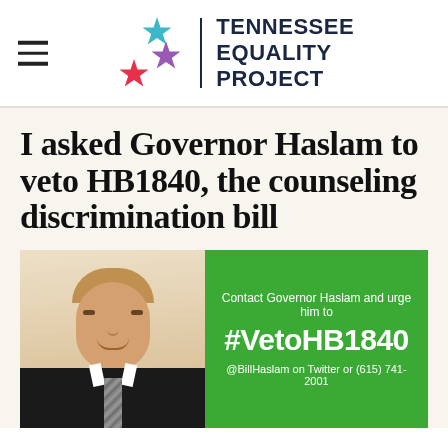[Figure (logo): Tennessee Equality Project logo with three colored stars (teal, purple, red) and organization name in dark navy bold text]
I asked Governor Haslam to veto HB1840, the counseling discrimination bill
[Figure (photo): Left side: Photo of Governor Haslam in suit. Right side: Green box with text 'Contact Governor Haslam and urge him to #VetoHB1840 @BillHaslam on Twitter or (615) 741-2001']